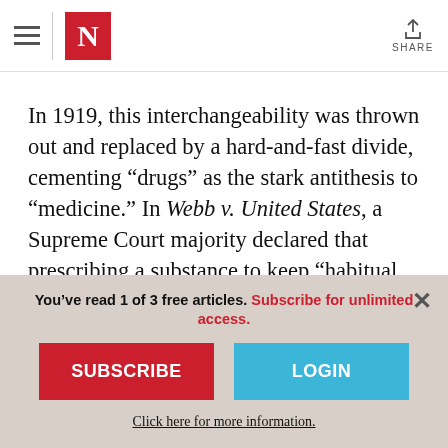The Nation — Navigation header with hamburger menu, N logo, and Share button
In 1919, this interchangeability was thrown out and replaced by a hard-and-fast divide, cementing “drugs” as the stark antithesis to “medicine.” In Webb v. United States, a Supreme Court majority declared that prescribing a substance to keep “habitual users” “comfortable” was not a “legitimate medical
You’ve read 1 of 3 free articles. Subscribe for unlimited access.
SUBSCRIBE
LOGIN
Click here for more information.